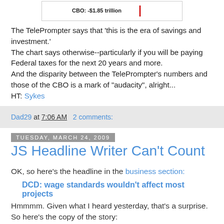[Figure (other): Partial chart showing CBO: -$1.85 trillion label with a red marker line]
The TelePrompter says that 'this is the era of savings and investment.'
The chart says otherwise--particularly if you will be paying Federal taxes for the next 20 years and more.
And the disparity between the TelePrompter's numbers and those of the CBO is a mark of "audacity", alright...
HT: Sykes
Dad29 at 7:06 AM   2 comments:
Tuesday, March 24, 2009
JS Headline Writer Can't Count
OK, so here's the headline in the business section:
DCD: wage standards wouldn't affect most projects
Hmmmm. Given what I heard yesterday, that's a surprise.
So here's the copy of the story: